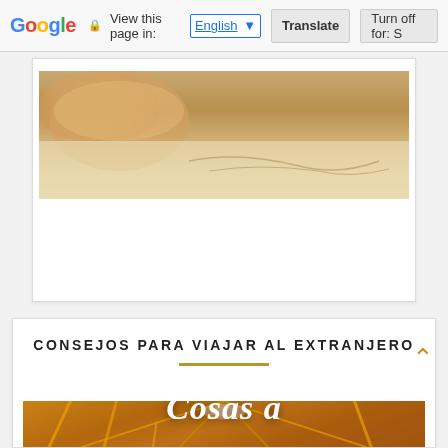Google  View this page in: English [▼]  Translate  Turn off for: S
[Figure (photo): Partial card showing a food/dish photo with a bowl visible at top, warm beige tones]
CONSEJOS PARA VIAJAR AL EXTRANJERO
[Figure (photo): Airport interior photo (possibly Madrid Barajas) with golden/amber structural arches and beams, white text overlay reading 'Cosas a' in cursive script, red sign visible with 'H2 H3O' text, person partially visible]